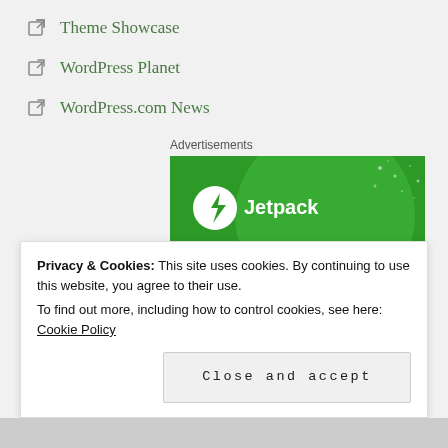Theme Showcase
WordPress Planet
WordPress.com News
Advertisements
[Figure (illustration): Jetpack advertisement banner with green background. Shows Jetpack logo (circle with lightning bolt) and text: 'Like an undo button for your WordPress site']
Privacy & Cookies: This site uses cookies. By continuing to use this website, you agree to their use.
To find out more, including how to control cookies, see here: Cookie Policy
Close and accept